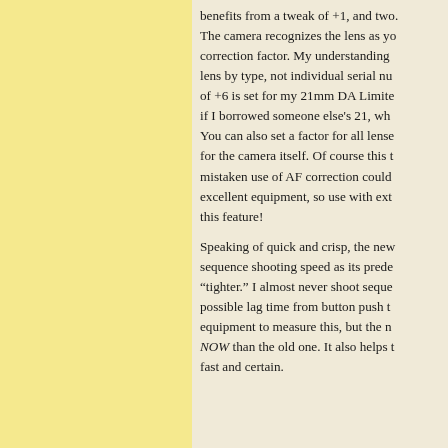benefits from a tweak of +1, and two. The camera recognizes the lens as you correction factor. My understanding lens by type, not individual serial nu of +6 is set for my 21mm DA Limite if I borrowed someone else's 21, wh You can also set a factor for all lense for the camera itself. Of course this t mistaken use of AF correction could excellent equipment, so use with ext this feature! Speaking of quick and crisp, the new sequence shooting speed as its prede "tighter." I almost never shoot seque possible lag time from button push t equipment to measure this, but the n NOW than the old one. It also helps fast and certain.